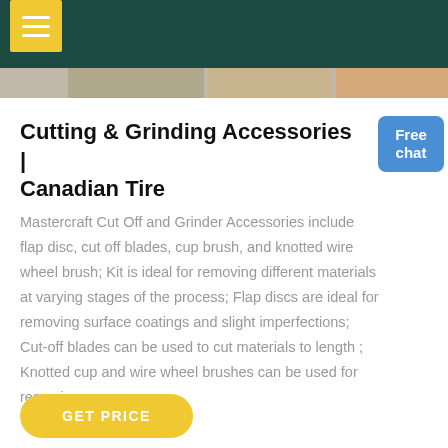Cutting & Grinding Accessories | Canadian Tire
Mastercraft Cut Off and Grinder Accessories include flap disc, cut off blades, cup brush, and knotted wire wheel brush; Kit is ideal for removing different materials at varying stages of the process; Flap discs are ideal for removing surface coatings and slight imperfections; Cut-off blades can be used to cut materials to length ; Knotted cup and wire wheel brushes can be used for removing ...
GET PRICE